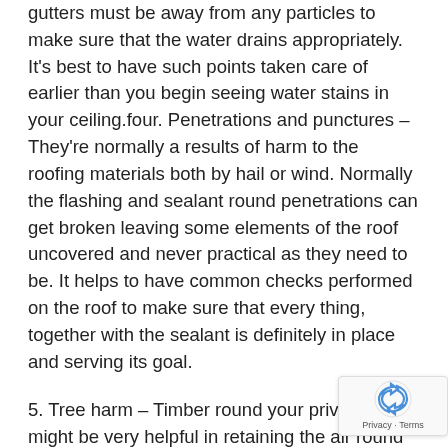gutters must be away from any particles to make sure that the water drains appropriately. It's best to have such points taken care of earlier than you begin seeing water stains in your ceiling.four. Penetrations and punctures – They're normally a results of harm to the roofing materials both by hail or wind. Normally the flashing and sealant round penetrations can get broken leaving some elements of the roof uncovered and never practical as they need to be. It helps to have common checks performed on the roof to make sure that every thing, together with the sealant is definitely in place and serving its goal.
5. Tree harm – Timber round your private home might be very helpful in retaining the air round your private home recent and providing shade for sunny days. Nevertheless, when you will have tree branches hanging dangerously over your roof, you danger having a lot of roof points. The might find yourself, rubbing and abrading the floor of roof sporting provide the protecting layer on high. There